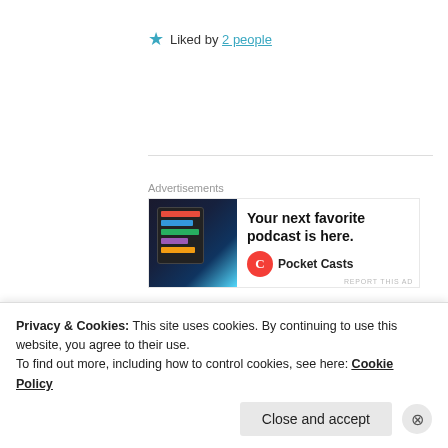★ Liked by 2 people
[Figure (screenshot): Pocket Casts advertisement banner showing app screenshot with tagline 'Your next favorite podcast is here.' and Pocket Casts logo]
REPORT THIS AD
RAMYANI BHATTACHARYA
7 Mar 2019 at 7:17 pm
[Figure (photo): Circular avatar photo of Ramyani Bhattacharya]
Excellent! The words you use are perfect. I could feel
Privacy & Cookies: This site uses cookies. By continuing to use this website, you agree to their use.
To find out more, including how to control cookies, see here: Cookie Policy
Close and accept